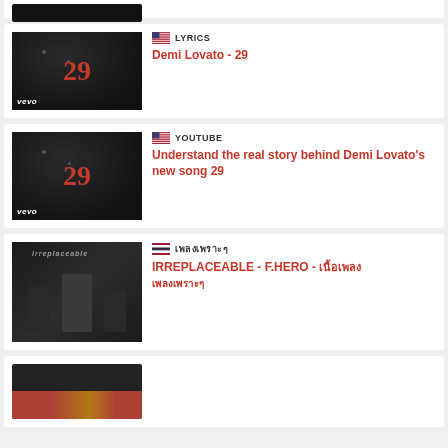[Figure (screenshot): Partial card at top showing thumbnail strip]
[Figure (screenshot): Card: Demi Lovato - 29 Lyrics with US flag tag and thumbnail showing '29' in red]
[Figure (screenshot): Card: YouTube - Understand the real story behind Demi Lovato's new song 29 with US flag tag and thumbnail showing '29' in red]
[Figure (screenshot): Card: IRREPLACEABLE - F.HERO - Thai text, with Thai flag tag and group photo thumbnail]
[Figure (screenshot): Partial bottom card showing a thumbnail]